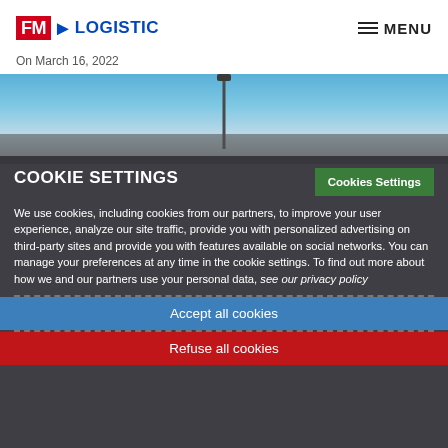FM Logistic — MENU
On March 16, 2022
[Figure (photo): Photo of a tall lighting pole against a blue sky with clouds, part of a logistics facility exterior]
COOKIE SETTINGS
We use cookies, including cookies from our partners, to improve your user experience, analyze our site traffic, provide you with personalized advertising on third-party sites and provide you with features available on social networks. You can manage your preferences at any time in the cookie settings. To find out more about how we and our partners use your personal data, see our privacy policy
Accept all cookies
Refuse all cookies